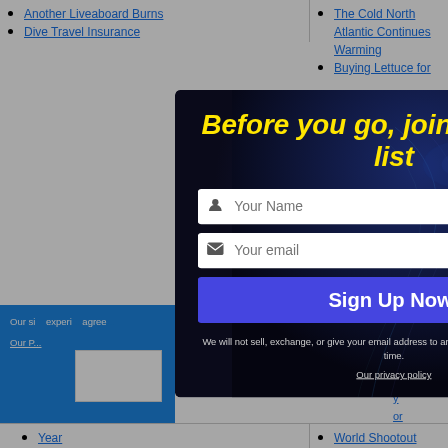Another Liveaboard Burns
Dive Travel Insurance
The Cold North Atlantic Continues Warming
Buying Lettuce for
[Figure (screenshot): Email signup modal popup with dark space-themed background. Title in yellow italic bold text: 'Before you go, join our Email list'. Two input fields: 'Your Name' and 'Your email'. A 'Sign Up Now!' button in blue/purple. Disclaimer text: 'We will not sell, exchange, or give your email address to any third party. Unsubscribe at any time.' Link: 'Our privacy policy'. Close button (X) in top right corner.]
Our si... experi... agree...
Our P...
Year
World Shootout